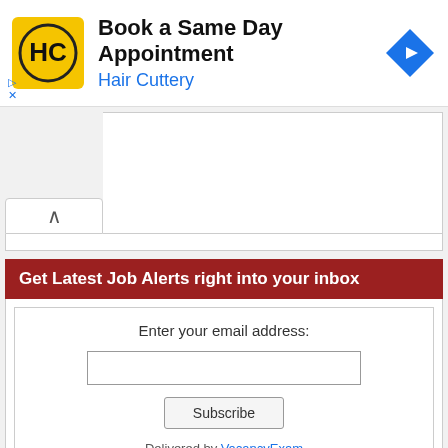[Figure (screenshot): Hair Cuttery advertisement banner with yellow logo showing HC letters, text 'Book a Same Day Appointment' and 'Hair Cuttery' in blue, with a blue diamond arrow icon on the right. Ad indicator triangle and X marks at bottom left.]
[Figure (screenshot): Collapsed UI panel with an up-arrow chevron button on the left side, and a white content area to the right.]
Get Latest Job Alerts right into your inbox
Enter your email address:
Subscribe
Delivered by VacancyExam
[Figure (screenshot): Red banner advertisement in Hindi: 'कोई भी GOVERNMENT EXAM का ONLINE FORM ...' with a laptop/document illustration on the right side.]